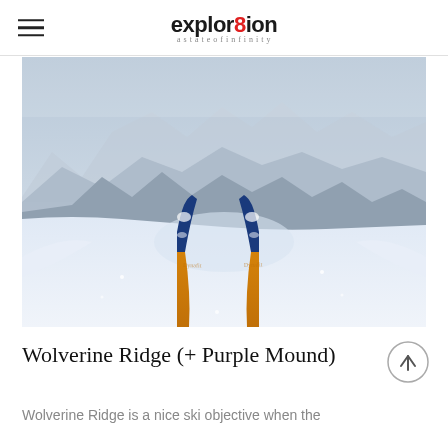explor8ion
[Figure (photo): First-person POV photograph looking down skis (blue tips, orange bodies) on a snowy slope, with snow-covered mountains and misty sky in the background]
Wolverine Ridge (+ Purple Mound)
Wolverine Ridge is a nice ski objective when the